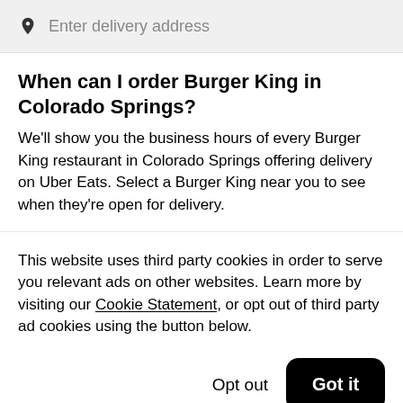Enter delivery address
When can I order Burger King in Colorado Springs?
We'll show you the business hours of every Burger King restaurant in Colorado Springs offering delivery on Uber Eats. Select a Burger King near you to see when they're open for delivery.
This website uses third party cookies in order to serve you relevant ads on other websites. Learn more by visiting our Cookie Statement, or opt out of third party ad cookies using the button below.
Opt out
Got it